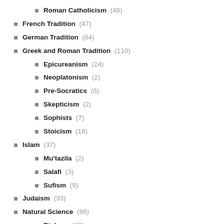Roman Catholicism (46)
French Tradition (47)
German Tradition (84)
Greek and Roman Tradition (110)
Epicureanism (24)
Neoplatonism (2)
Pre-Socratics (6)
Skepticism (2)
Sophists (7)
Stoicism (18)
Islam (37)
Mu'tazila (2)
Salafi (3)
Sufism (9)
Judaism (33)
Natural Science (86)
Biology (22)
Philosophy of Science (47)